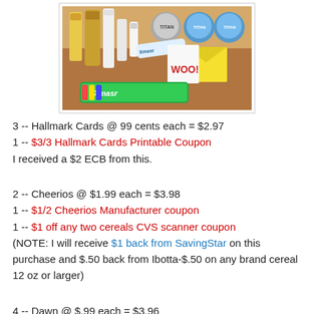[Figure (photo): Photo of various consumer products including shampoo bottles, deodorant, dish soap, Xmas candy, greeting cards on a wooden surface]
3 -- Hallmark Cards @ 99 cents each =  $2.97
1 -- $3/3 Hallmark Cards Printable Coupon
I received a $2 ECB from this.
2 -- Cheerios @ $1.99 each = $3.98
1 -- $1/2 Cheerios Manufacturer coupon
1 -- $1 off any two cereals CVS scanner coupon
(NOTE:  I will receive $1 back from SavingStar on this purchase and $.50 back from Ibotta-$.50 on any brand cereal 12 oz or larger)
4 -- Dawn @ $.99 each =  $3.96
4 -- $.30/1 Dawn Printable Coupons (No longer available)